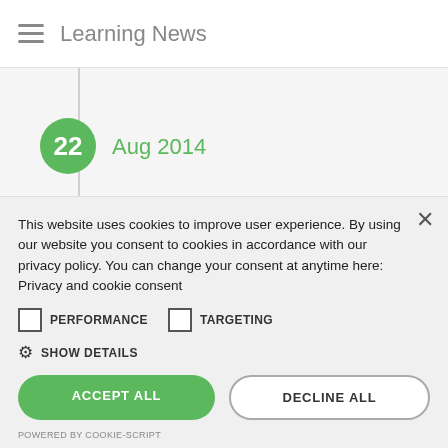Learning News
22
Aug 2014
Latest version of the Docebo learning management system
This website uses cookies to improve user experience. By using our website you consent to cookies in accordance with our privacy policy. You can change your consent at anytime here: Privacy and cookie consent
PERFORMANCE  TARGETING
SHOW DETAILS
ACCEPT ALL
DECLINE ALL
POWERED BY COOKIE-SCRIPT